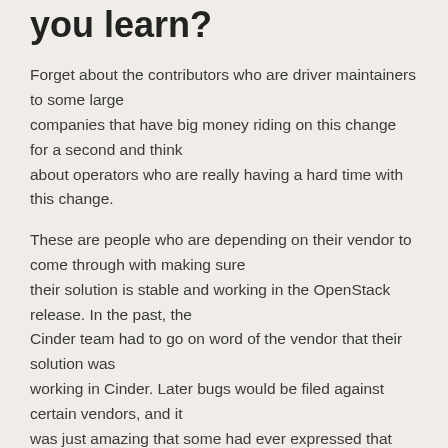you learn?
Forget about the contributors who are driver maintainers to some large companies that have big money riding on this change for a second and think about operators who are really having a hard time with this change.
These are people who are depending on their vendor to come through with making sure their solution is stable and working in the OpenStack release. In the past, the Cinder team had to go on word of the vendor that their solution was working in Cinder. Later bugs would be filed against certain vendors, and it was just amazing that some had ever expressed that things working. Operators would be the ones discovering things didn't work. It was a mess and frustrating.